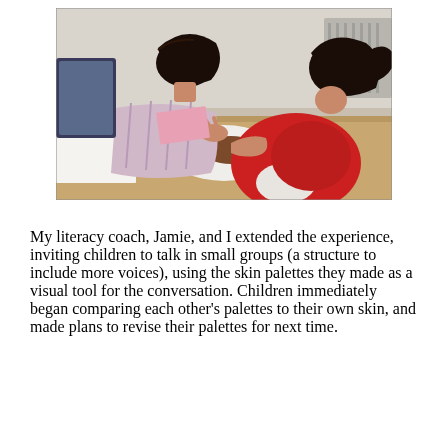[Figure (photo): Children painting at a classroom table. A child in a red smock leans over a white palette/tray with brown paint on it. Another child with dark hair in a ponytail leans forward working on a project. A pink squeeze bottle is visible on the table. The classroom setting has a tan wood-grain table and a radiator in the background.]
My literacy coach, Jamie, and I extended the experience, inviting children to talk in small groups (a structure to include more voices), using the skin palettes they made as a visual tool for the conversation. Children immediately began comparing each other's palettes to their own skin, and made plans to revise their palettes for next time.